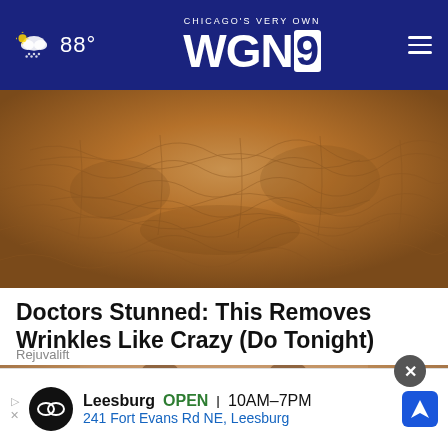CHICAGO'S VERY OWN WGN9 — 88°
[Figure (photo): Close-up of heavily wrinkled, textured skin in shades of tan and brown]
Doctors Stunned: This Removes Wrinkles Like Crazy (Do Tonight)
Rejuvalift
[Figure (photo): Close-up of a man's chin and neck showing stubble and skin texture]
[Figure (infographic): Advertisement: Leesburg OPEN 10AM–7PM, 241 Fort Evans Rd NE, Leesburg]